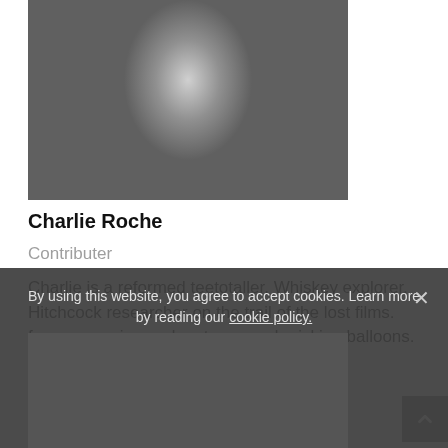[Figure (photo): Black and white photograph of Charlie Roche, a man in a blazer and checked shirt, shown from torso up]
Charlie Roche
Contributer
Charlie is a reformed teetotaller, Whiskey explorer, Hitchcock researcher on the trail of the lost films. forever peering under stones and pricking balloons.
[Figure (illustration): Twitter bird icon (teal/blue)]
By using this website, you agree to accept cookies. Learn more by reading our cookie policy.